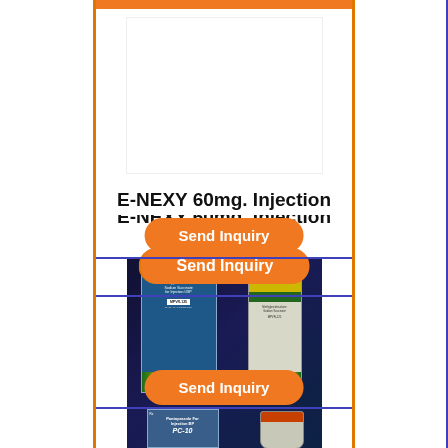[Figure (photo): Product image area for E-NEXY 60mg Injection (white/blank image area)]
E-NEXY 60mg. Injection
Send Inquiry
[Figure (photo): Photo of Methylprednisolone Sodium Succinate for Injection USP MPVR-125, showing a box and vial]
MPVR 125mg
Send Inquiry
[Figure (photo): Photo of Pantoprazole for Injection BP PC-10 product box and vial]